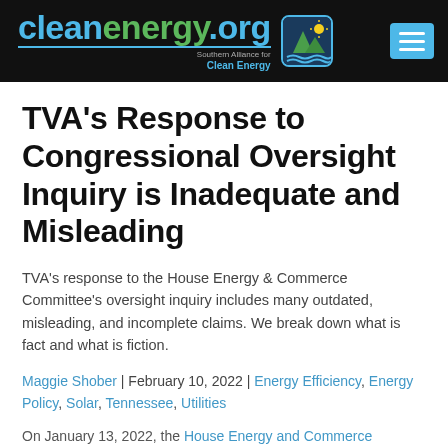cleanenergy.org — Southern Alliance for Clean Energy
TVA's Response to Congressional Oversight Inquiry is Inadequate and Misleading
TVA's response to the House Energy & Commerce Committee's oversight inquiry includes many outdated, misleading, and incomplete claims. We break down what is fact and what is fiction.
Maggie Shober | February 10, 2022 | Energy Efficiency, Energy Policy, Solar, Tennessee, Utilities
On January 13, 2022, the House Energy and Commerce